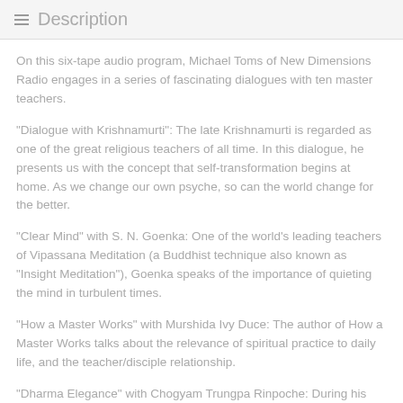Description
On this six-tape audio program, Michael Toms of New Dimensions Radio engages in a series of fascinating dialogues with ten master teachers.
"Dialogue with Krishnamurti": The late Krishnamurti is regarded as one of the great religious teachers of all time. In this dialogue, he presents us with the concept that self-transformation begins at home. As we change our own psyche, so can the world change for the better.
"Clear Mind" with S. N. Goenka: One of the world's leading teachers of Vipassana Meditation (a Buddhist technique also known as "Insight Meditation"), Goenka speaks of the importance of quieting the mind in turbulent times.
"How a Master Works" with Murshida Ivy Duce: The author of How a Master Works talks about the relevance of spiritual practice to daily life, and the teacher/disciple relationship.
"Dharma Elegance" with Chogyam Trungpa Rinpoche: During his life, Trungpa was widely known as a meditation